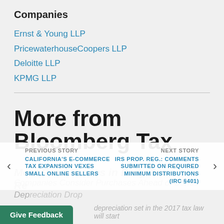Companies
Ernst & Young LLP
PricewaterhouseCoopers LLP
Deloitte LLP
KPMG LLP
More from Bloomberg Tax
Most Read Stories in Daily Tax Report
PREVIOUS STORY
CALIFORNIA'S E-COMMERCE TAX EXPANSION VEXES SMALL ONLINE SELLERS
NEXT STORY
IRS PROP. REG.: COMMENTS SUBMITTED ON REQUIRED MINIMUM DISTRIBUTIONS (IRC §401)
Companies Consider Purchases Ahead of Bonus Depreciation Drop
Give Feedback
depreciation set in the 2017 tax law will start